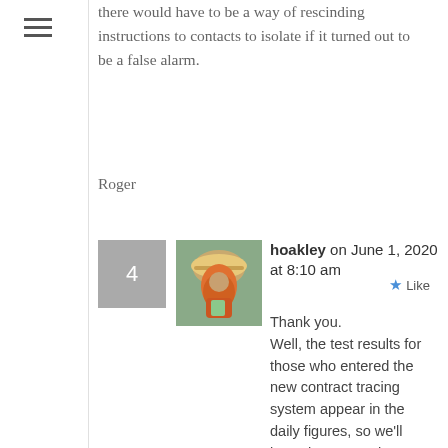there would have to be a way of rescinding instructions to contacts to isolate if it turned out to be a false alarm.
Roger
hoakley on June 1, 2020 at 8:10 am
Thank you.
Well, the test results for those who entered the new contract tracing system appear in the daily figures, so we'll know how many have tested positive. Or we would if they stratified their globs of data out into something more useful.